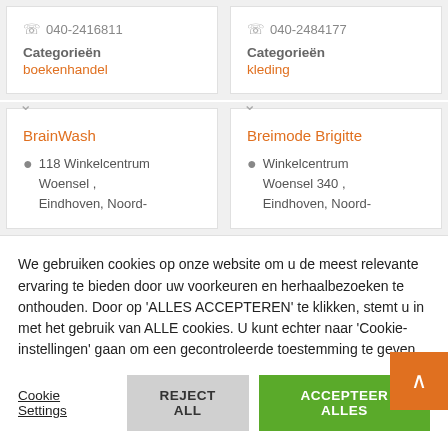040-2416811
Categorieën
boekenhandel
040-2484177
Categorieën
kleding
BrainWash
118 Winkelcentrum Woensel , Eindhoven, Noord-
Breimode Brigitte
Winkelcentrum Woensel 340 , Eindhoven, Noord-
We gebruiken cookies op onze website om u de meest relevante ervaring te bieden door uw voorkeuren en herhaalbezoeken te onthouden. Door op 'ALLES ACCEPTEREN' te klikken, stemt u in met het gebruik van ALLE cookies. U kunt echter naar 'Cookie-instellingen' gaan om een gecontroleerde toestemming te geven.
Cookie Settings
REJECT ALL
ACCEPTEER ALLES